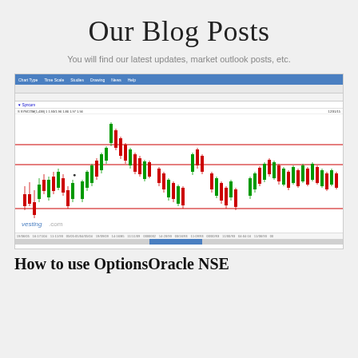Our Blog Posts
You will find our latest updates, market outlook posts, etc.
[Figure (screenshot): Screenshot of a candlestick stock chart from investing.com showing price action with three horizontal red support/resistance lines drawn across the chart. The chart has a toolbar at the top with blue menu bar, icon bars, and symbol entry field. The candlestick chart shows green and red candles with significant price swings. A watermark reads 'vesting.com'. Date axis at the bottom.]
How to use OptionsOracle NSE